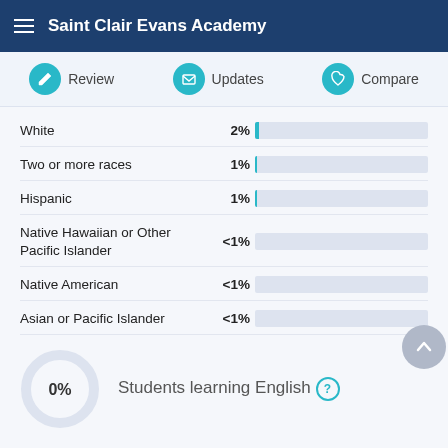Saint Clair Evans Academy
Review | Updates | Compare
| Race/Ethnicity | Percentage | Bar |
| --- | --- | --- |
| White | 2% |  |
| Two or more races | 1% |  |
| Hispanic | 1% |  |
| Native Hawaiian or Other Pacific Islander | <1% |  |
| Native American | <1% |  |
| Asian or Pacific Islander | <1% |  |
[Figure (donut-chart): Students learning English]
0% Students learning English ?